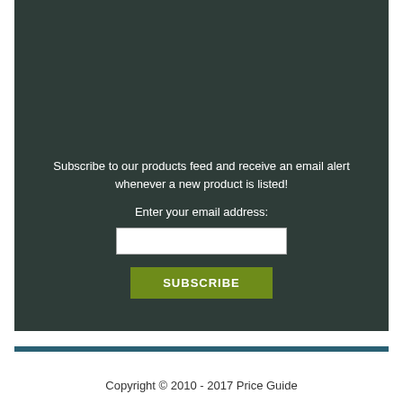Subscribe to our products feed and receive an email alert whenever a new product is listed!
Enter your email address:
Copyright © 2010 - 2017 Price Guide